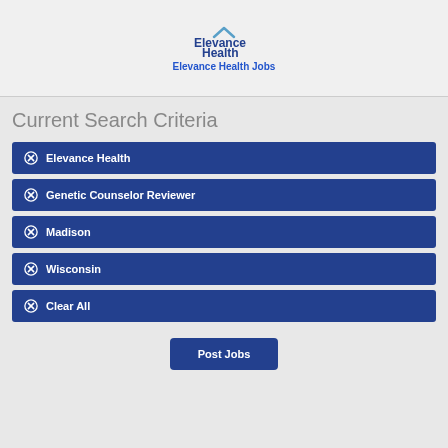[Figure (logo): Elevance Health logo with blue house-shaped icon and blue text]
Elevance Health Jobs
Current Search Criteria
Elevance Health
Genetic Counselor Reviewer
Madison
Wisconsin
Clear All
Post Jobs